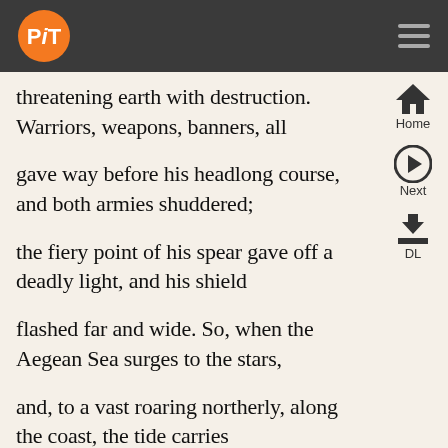PiT logo and navigation header
threatening earth with destruction. Warriors, weapons, banners, all
gave way before his headlong course, and both armies shuddered;
the fiery point of his spear gave off a deadly light, and his shield
flashed far and wide. So, when the Aegean Sea surges to the stars,
and, to a vast roaring northerly, along the coast, the tide carries
ashore the mounting water, sailors' trembling hearts grow cold: